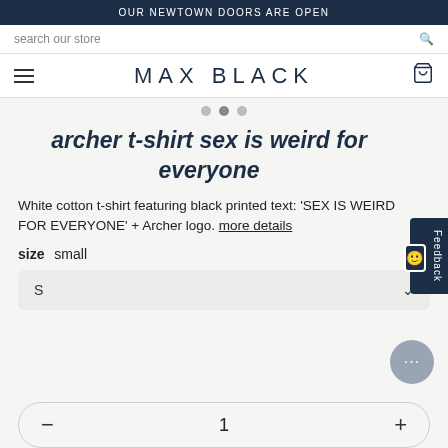OUR NEWTOWN DOORS ARE OPEN
search our store
MAX BLACK
archer t-shirt sex is weird for everyone
White cotton t-shirt featuring black printed text: 'SEX IS WEIRD FOR EVERYONE' + Archer logo. more details
size  small
S
Feedback
1